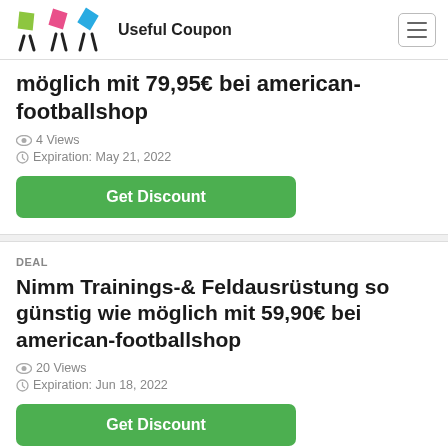Useful Coupon
möglich mit 79,95€ bei american-footballshop
4 Views
Expiration: May 21, 2022
Get Discount
DEAL
Nimm Trainings-& Feldausrüstung so günstig wie möglich mit 59,90€ bei american-footballshop
20 Views
Expiration: Jun 18, 2022
Get Discount